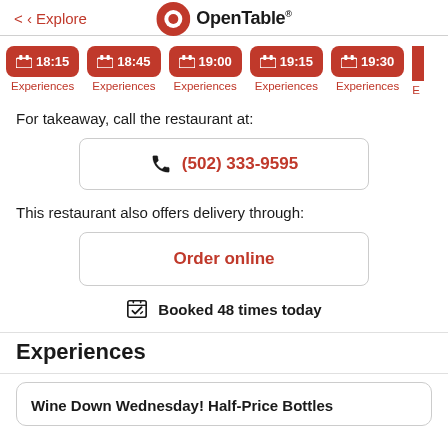< Explore  OpenTable
18:15 Experiences  18:45 Experiences  19:00 Experiences  19:15 Experiences  19:30 Experiences
For takeaway, call the restaurant at:
(502) 333-9595
This restaurant also offers delivery through:
Order online
Booked 48 times today
Experiences
Wine Down Wednesday! Half-Price Bottles